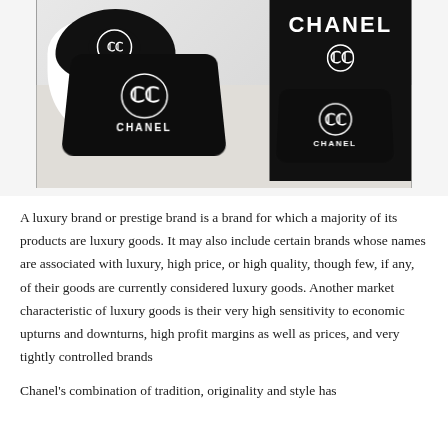[Figure (photo): Chanel-branded bathroom set including toilet seat cover, two black floor mats with CC logo and CHANEL text, and a black shower curtain with CHANEL text, displayed in a light-colored bathroom.]
A luxury brand or prestige brand is a brand for which a majority of its products are luxury goods. It may also include certain brands whose names are associated with luxury, high price, or high quality, though few, if any, of their goods are currently considered luxury goods. Another market characteristic of luxury goods is their very high sensitivity to economic upturns and downturns, high profit margins as well as prices, and very tightly controlled brands
Chanel's combination of tradition, originality and style has